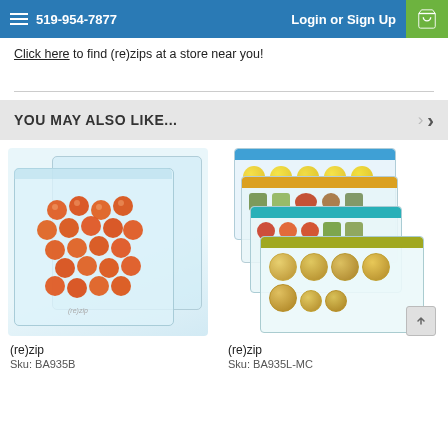519-954-7877   Login or Sign Up
Click here to find (re)zips at a store near you!
YOU MAY ALSO LIKE...
[Figure (photo): Two clear plastic reusable bags containing orange cherry tomatoes, (re)zip brand]
(re)zip
Sku: BA935B
[Figure (photo): Four colorful reusable bags with blue, yellow, orange, teal, and olive/yellow closures containing various foods including coins, (re)zip brand]
(re)zip
Sku: BA935L-MC